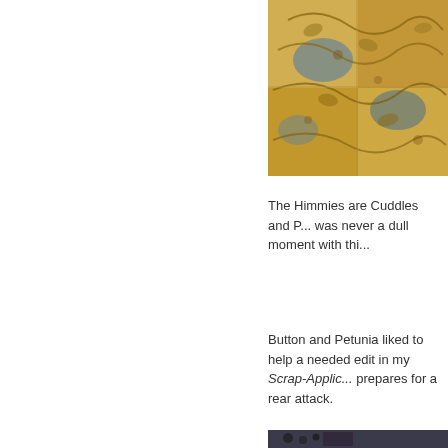[Figure (photo): Close-up photo of decorative tiles with floral/geometric pattern in gold, brown, and blue colors]
The Himmies are Cuddles and P... was never a dull moment with thi...
Button and Petunia liked to help a needed edit in my Scrap-Applic... prepares for a rear attack.
[Figure (photo): Photo of a young tabby kitten with green eyes looking at camera, sitting near a blue paper/envelope on a wooden surface]